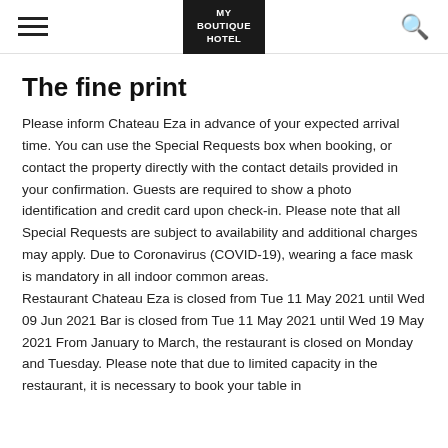MY BOUTIQUE HOTEL
The fine print
Please inform Chateau Eza in advance of your expected arrival time. You can use the Special Requests box when booking, or contact the property directly with the contact details provided in your confirmation. Guests are required to show a photo identification and credit card upon check-in. Please note that all Special Requests are subject to availability and additional charges may apply. Due to Coronavirus (COVID-19), wearing a face mask is mandatory in all indoor common areas. Restaurant Chateau Eza is closed from Tue 11 May 2021 until Wed 09 Jun 2021 Bar is closed from Tue 11 May 2021 until Wed 19 May 2021 From January to March, the restaurant is closed on Monday and Tuesday. Please note that due to limited capacity in the restaurant, it is necessary to book your table in